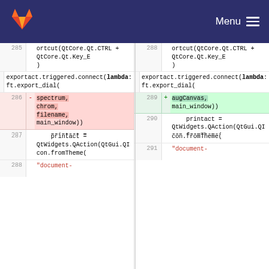GitLab Menu
[Figure (screenshot): Code diff view showing two columns (before/after) with line numbers 285-291. Lines 286/289 show a removed/added diff. Left side shows 'spectrum, chrom, filename, main_window))' removed; right side shows 'augCanvas, main_window))' added. Surrounding context shows exportact.triggered.connect(lambda: ft.export_dial( and printact = QtWidgets.QAction(QtGui.QIcon.fromTheme( and string 'document-'.]